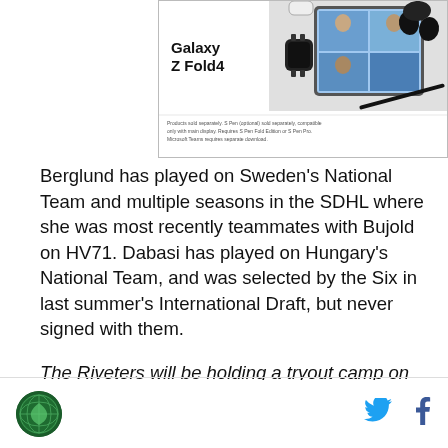[Figure (photo): Samsung Galaxy Z Fold4 advertisement showing the phone, a smartwatch, earbuds, S Pen, and people on a video call. Text reads 'Galaxy Z Fold4' with fine print about products sold separately.]
Berglund has played on Sweden’s National Team and multiple seasons in the SDHL where she was most recently teammates with Bujold on HV71. Dabasi has played on Hungary’s National Team, and was selected by the Six in last summer’s International Draft, but never signed with them.
The Riveters will be holding a tryout camp on June 4 in Newark, New Jersey.
[Figure (logo): Circular green logo in the page footer]